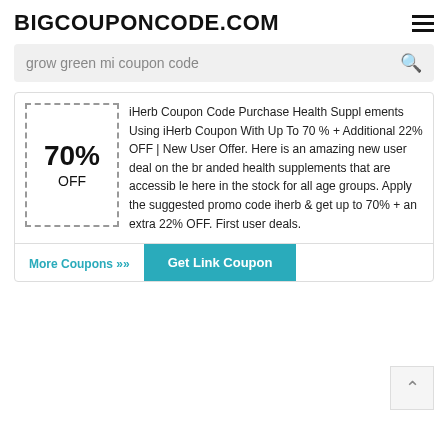BIGCOUPONCODE.COM
grow green mi coupon code
70% OFF
iHerb Coupon Code Purchase Health Supplements Using iHerb Coupon With Up To 70% + Additional 22% OFF | New User Offer. Here is an amazing new user deal on the branded health supplements that are accessible here in the stock for all age groups. Apply the suggested promo code iherb & get up to 70% + an extra 22% OFF. First user deals.
More Coupons ›› Get Link Coupon